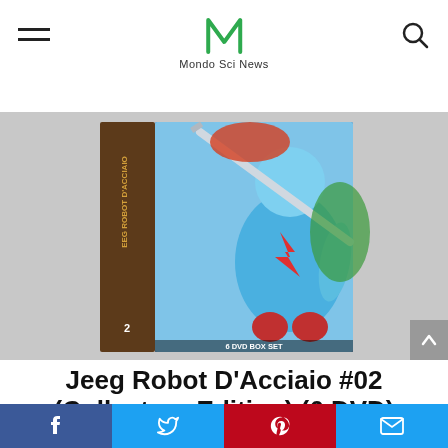Mondo Sci News
[Figure (photo): Product box art for Jeeg Robot D'Acciaio #02 Collectors Edition 6 DVD Box Set, showing anime robot illustration on box cover]
Jeeg Robot D'Acciaio #02 (Collectors Edition) (6 DVD)